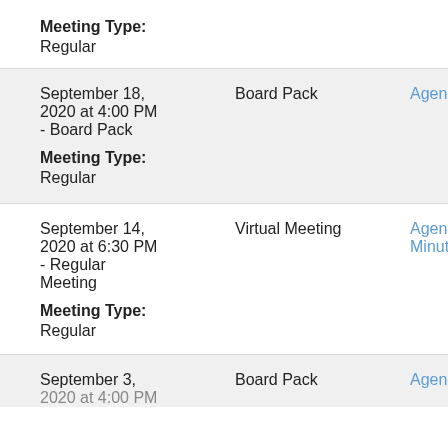Meeting Type:
Regular
| Date | Type | Links |
| --- | --- | --- |
| September 18, 2020 at 4:00 PM - Board Pack
Meeting Type:
Regular | Board Pack | Agenda |
| September 14, 2020 at 6:30 PM - Regular Meeting
Meeting Type:
Regular | Virtual Meeting | Agenda
Minutes |
| September 3, 2020 at 4:00 PM ... | Board Pack | Agenda |